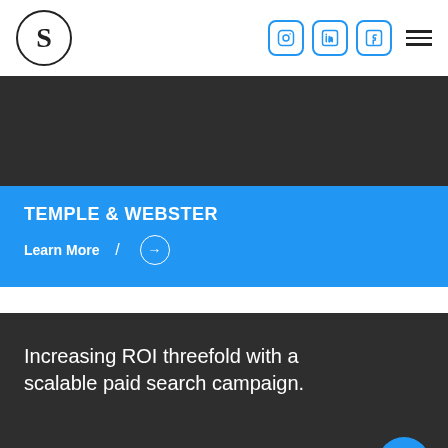[Figure (logo): Circular logo with letter S inside]
[Figure (infographic): Social media icons: Instagram, LinkedIn, Facebook and hamburger menu]
[Figure (photo): Dark grey banner image area]
TEMPLE & WEBSTER
Learn More  /  →
Increasing ROI threefold with a scalable paid search campaign.
[Figure (infographic): Blue circular email/envelope button]